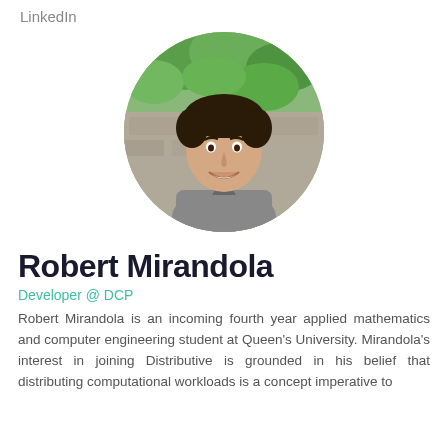LinkedIn
[Figure (photo): Circular profile photo of Robert Mirandola, a young man with curly dark hair wearing a grey polo shirt, smiling in front of green ivy and a stone wall background.]
Robert Mirandola
Developer @ DCP
Robert Mirandola is an incoming fourth year applied mathematics and computer engineering student at Queen's University. Mirandola's interest in joining Distributive is grounded in his belief that distributing computational workloads is a concept imperative to the future of modern computing, and it is one he